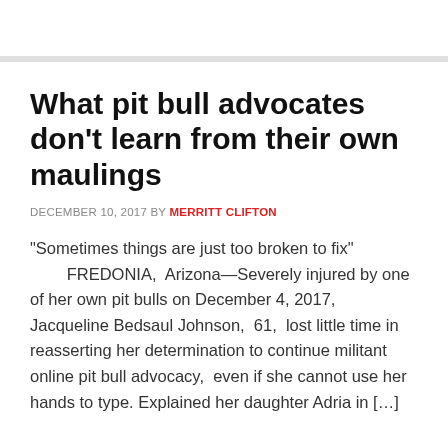What pit bull advocates don't learn from their own maulings
DECEMBER 10, 2017 BY MERRITT CLIFTON
“Sometimes things are just too broken to fix” FREDONIA, Arizona—Severely injured by one of her own pit bulls on December 4, 2017, Jacqueline Bedsaul Johnson, 61, lost little time in reasserting her determination to continue militant online pit bull advocacy, even if she cannot use her hands to type. Explained her daughter Adria in […]